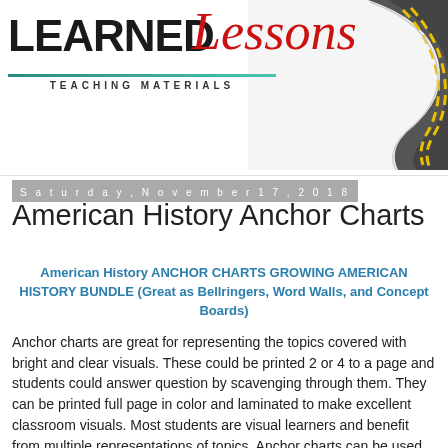[Figure (logo): Learned Lessons Teaching Materials logo with road illustration]
Saturday, November 17, 2018
American History Anchor Charts
American History ANCHOR CHARTS GROWING AMERICAN HISTORY BUNDLE (Great as Bellringers, Word Walls, and Concept Boards)
Anchor charts are great for representing the topics covered with bright and clear visuals. These could be printed 2 or 4 to a page and students could answer question by scavenging through them. They can be printed full page in color and laminated to make excellent classroom visuals. Most students are visual learners and benefit from multiple representations of topics. Anchor charts can be used as study guides or develop questions to review or introduce material.